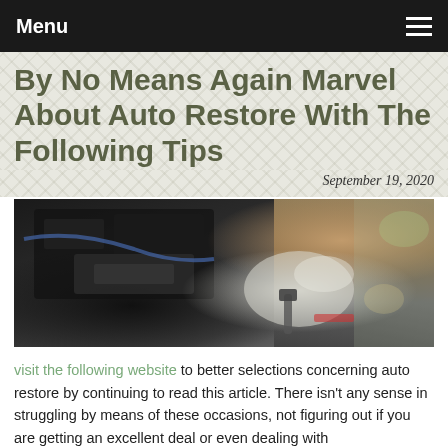Menu
By No Means Again Marvel About Auto Restore With The Following Tips
September 19, 2020
[Figure (photo): A mechanic wearing white gloves working on a car engine with a wrench/tool in an auto repair shop setting]
visit the following website to better selections concerning auto restore by continuing to read this article. There isn't any sense in struggling by means of these occasions, not figuring out if you are getting an excellent deal or even dealing with